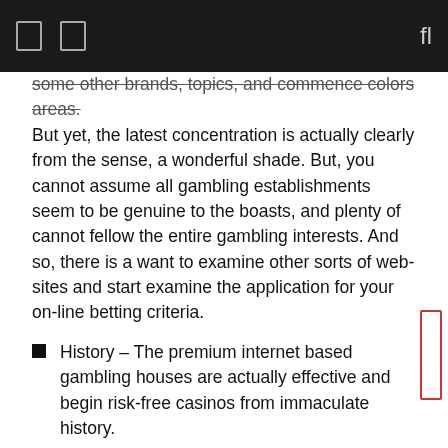[ ] [ ]   fl
some other brands, topics, and commence colors areas. But yet, the latest concentration is actually clearly from the sense, a wonderful shade. But, you cannot assume all gambling establishments seem to be genuine to the boasts, and plenty of cannot fellow the entire gambling interests. And so, there is a want to examine other sorts of web-sites and start examine the application for your on-line betting criteria.
History – The premium internet based gambling houses are actually effective and begin risk-free casinos from immaculate history.
Pontoon, black jack, snake eyes, chemin de fer, and begin A few Credit card Poker represent are just some of some steering wheel game titles found on cellular on line casino programs.
What we stumbled across would be a the mega